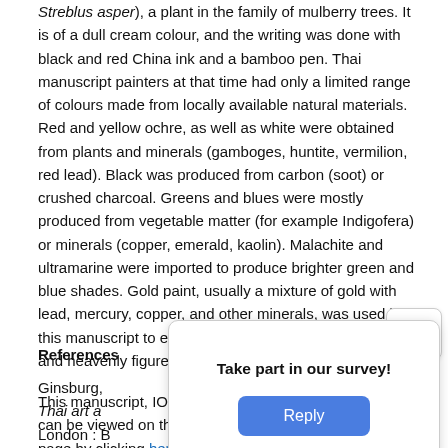Streblus asper), a plant in the family of mulberry trees. It is of a dull cream colour, and the writing was done with black and red China ink and a bamboo pen. Thai manuscript painters at that time had only a limited range of colours made from locally available natural materials. Red and yellow ochre, as well as white were obtained from plants and minerals (gamboges, huntite, vermilion, red lead). Black was produced from carbon (soot) or crushed charcoal. Greens and blues were mostly produced from vegetable matter (for example Indigofera) or minerals (copper, emerald, kaolin). Malachite and ultramarine were imported to produce brighter green and blue shades. Gold paint, usually a mixture of gold with lead, mercury, copper, and other minerals, was used in this manuscript to enhance the appearance of the human and heavenly figures.
This manuscript, IO Pali 207, has been fully digitised and can be viewed on the Library's Digitised Manuscripts page by clicking here.
References
Ginsburg, ... Thai art a... tions. London : B...
[Figure (screenshot): A popup dialog with chevron/close button in top right corner, containing the text 'Take part in our survey!' and a blue 'Reply' button.]